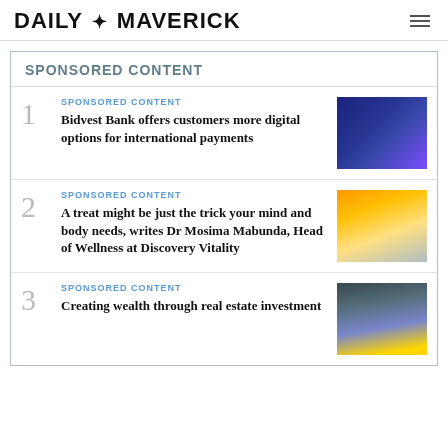DAILY MAVERICK
SPONSORED CONTENT
1 SPONSORED CONTENT
Bidvest Bank offers customers more digital options for international payments
2 SPONSORED CONTENT
A treat might be just the trick your mind and body needs, writes Dr Mosima Mabunda, Head of Wellness at Discovery Vitality
3 SPONSORED CONTENT
Creating wealth through real estate investment